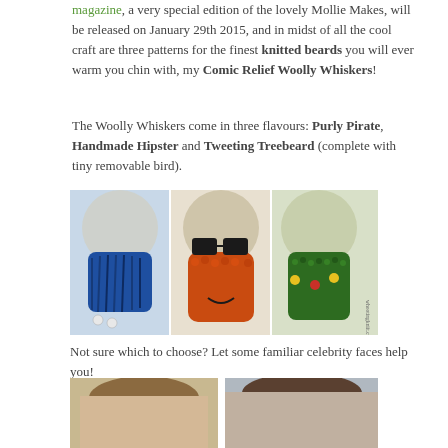magazine, a very special edition of the lovely Mollie Makes, will be released on January 29th 2015, and in midst of all the cool craft are three patterns for the finest knitted beards you will ever warm you chin with, my Comic Relief Woolly Whiskers!
The Woolly Whiskers come in three flavours: Purly Pirate, Handmade Hipster and Tweeting Treebeard (complete with tiny removable bird).
[Figure (photo): Three knitted beards on glass mannequin heads: blue shaggy beard (Purly Pirate) with skull charms, orange knitted beard with black-rimmed glasses (Handmade Hipster), and green textured beard with decorative flowers (Tweeting Treebeard)]
Not sure which to choose? Let some familiar celebrity faces help you!
[Figure (photo): Two celebrity faces wearing knitted beards, partially visible at bottom of page]